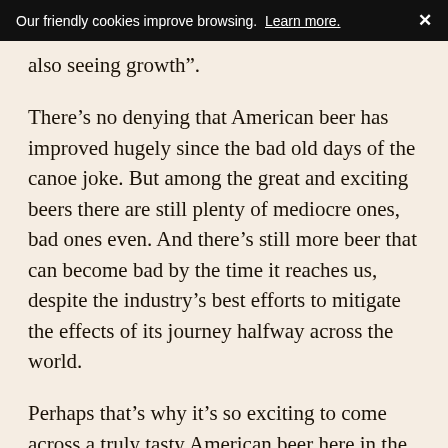Our friendly cookies improve browsing. Learn more. ✕
also seeing growth”.
There’s no denying that American beer has improved hugely since the bad old days of the canoe joke. But among the great and exciting beers there are still plenty of mediocre ones, bad ones even. And there’s still more beer that can become bad by the time it reaches us, despite the industry’s best efforts to mitigate the effects of its journey halfway across the world.
Perhaps that’s why it’s so exciting to come across a truly tasty American beer here in the